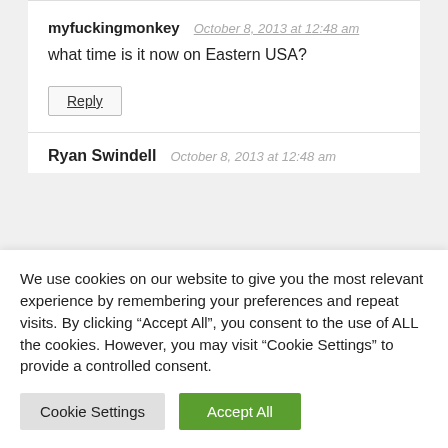myfuckingmonkey   October 8, 2013 at 12:48 am
what time is it now on Eastern USA?
Reply
Ryan Swindell   October 8, 2013 at 12:48 am
We use cookies on our website to give you the most relevant experience by remembering your preferences and repeat visits. By clicking “Accept All”, you consent to the use of ALL the cookies. However, you may visit "Cookie Settings" to provide a controlled consent.
Cookie Settings
Accept All